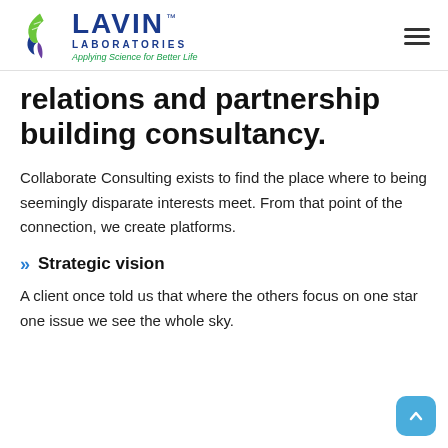[Figure (logo): Lavin Laboratories logo with green and blue flame/DNA icon, text 'LAVIN LABORATORIES' in dark blue, tagline 'Applying Science for Better Life' in green italic]
relations and partnership building consultancy.
Collaborate Consulting exists to find the place where to being seemingly disparate interests meet. From that point of the connection, we create platforms.
Strategic vision
A client once told us that where the others focus on one star one issue we see the whole sky.